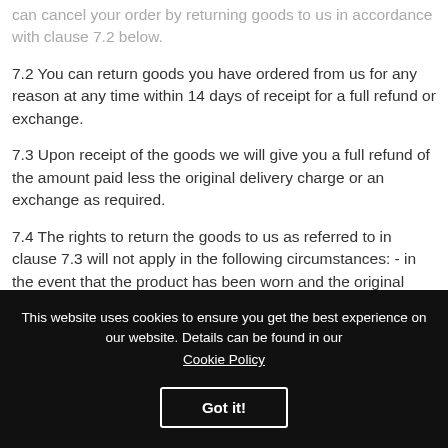Where goods have already been dispatched to you, you can cancel your order by returning goods to us in accordance with clause 7.2 below.
7.2 You can return goods you have ordered from us for any reason at any time within 14 days of receipt for a full refund or exchange.
7.3 Upon receipt of the goods we will give you a full refund of the amount paid less the original delivery charge or an exchange as required.
7.4 The rights to return the goods to us as referred to in clause 7.3 will not apply in the following circumstances: - in the event that the product has been worn and the original tags are not in
This website uses cookies to ensure you get the best experience on our website. Details can be found in our Cookie Policy
Got it!